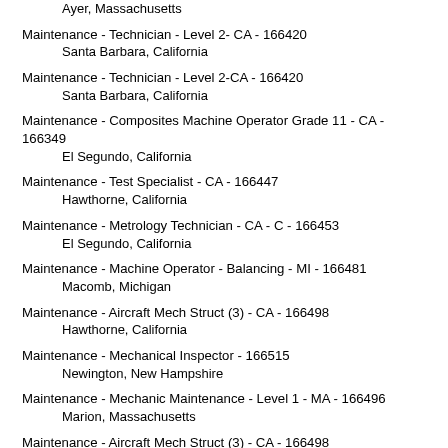Ayer, Massachusetts
Maintenance - Technician - Level 2- CA - 166420
    Santa Barbara, California
Maintenance - Technician - Level 2-CA - 166420
    Santa Barbara, California
Maintenance - Composites Machine Operator Grade 11 - CA - 166349
    El Segundo, California
Maintenance - Test Specialist - CA - 166447
    Hawthorne, California
Maintenance - Metrology Technician - CA - C - 166453
    El Segundo, California
Maintenance - Machine Operator - Balancing - MI - 166481
    Macomb, Michigan
Maintenance - Aircraft Mech Struct (3) - CA - 166498
    Hawthorne, California
Maintenance - Mechanical Inspector - 166515
    Newington, New Hampshire
Maintenance - Mechanic Maintenance - Level 1 - MA - 166496
    Marion, Massachusetts
Maintenance - Aircraft Mech Struct (3) - CA - 166498